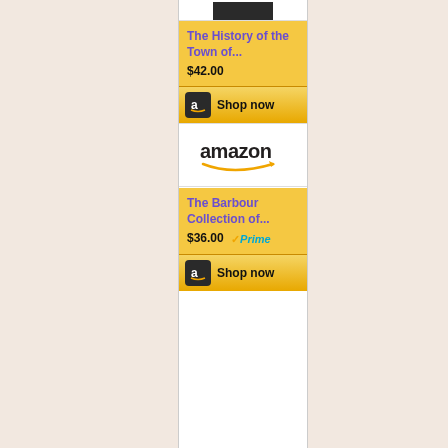[Figure (screenshot): Amazon product listing widget showing two books with Shop now buttons and Amazon logo]
The History of the Town of... $42.00
Shop now
[Figure (logo): Amazon logo with orange smile/arrow]
The Barbour Collection of... $36.00
Shop now